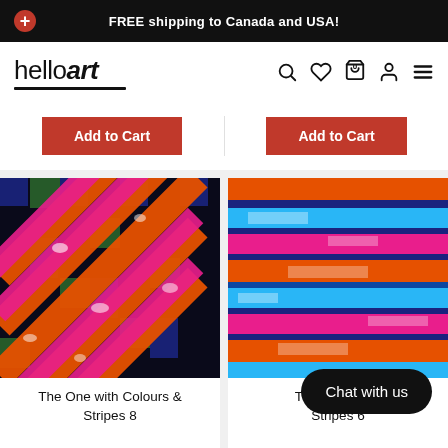FREE shipping to Canada and USA!
[Figure (logo): helloart logo with underline]
Add to Cart
Add to Cart
[Figure (photo): Colorful diagonal stripe artwork with orange, pink, blue, green colors - The One with Colours & Stripes 8]
[Figure (photo): Colorful horizontal stripe artwork with orange, blue, pink colors - The One with Colours & Stripes 6]
The One with Colours & Stripes 8
The One with Colours & Stripes 6
Chat with us